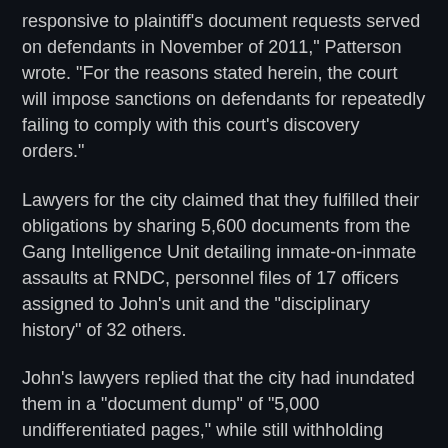responsive to plaintiff's document requests served on defendants in November of 2011," Patterson wrote. "For the reasons stated herein, the court will impose sanctions on defendants for repeatedly failing to comply with this court's discovery orders."
Lawyers for the city claimed that they fulfilled their obligations by sharing 5,600 documents from the Gang Intelligence Unit detailing inmate-on-inmate assaults at RNDC, personnel files of 17 officers assigned to John's unit and the "disciplinary history" of 32 others.
John's lawyers replied that the city had inundated them in a "document dump" of "5,000 undifferentiated pages," while still withholding entire categories of other requested files.
The judge told city attorneys that they could not measure their discovery obligations by volume.